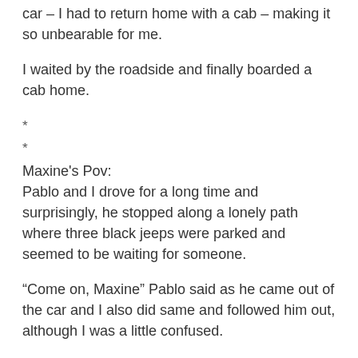since we had all arrived here with one car – my husband's car – I had to return home with a cab – making it so unbearable for me.
I waited by the roadside and finally boarded a cab home.
*
*
Maxine's Pov:
Pablo and I drove for a long time and surprisingly, he stopped along a lonely path where three black jeeps were parked and seemed to be waiting for someone.
“Come on, Maxine” Pablo said as he came out of the car and I also did same and followed him out, although I was a little confused.
I saw three women and two men in suits, all waiting outside the jeeps.
“You kept us waiting for too long, Mr Pablo. At some point, I was beginning to think you were gonna disappoint us” one of the women in suit spoke with so much fluency so